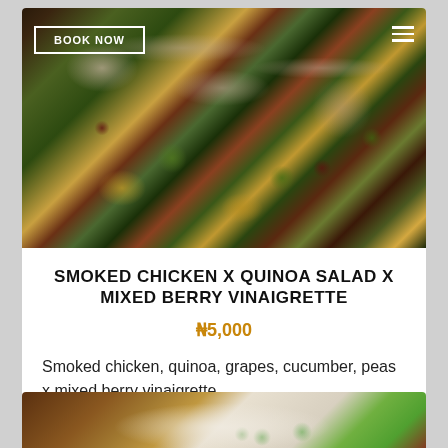[Figure (photo): Close-up photo of smoked chicken quinoa salad with mixed berry vinaigrette, showing grapes, peas, cucumber, quinoa grains and shredded chicken on a dark background. A 'BOOK NOW' button overlay appears in the top left and a hamburger menu icon in the top right.]
SMOKED CHICKEN X QUINOA SALAD X MIXED BERRY VINAIGRETTE
₦5,000
Smoked chicken, quinoa, grapes, cucumber, peas x mixed berry vinaigrette
[Figure (photo): Partial view of a second food item — a plate with sliced cucumber and garnish visible on a wooden surface background.]